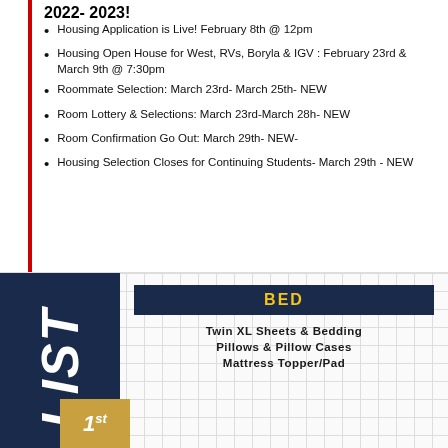2022- 2023!
Housing Application is Live! February 8th @ 12pm
Housing Open House for West, RVs, Boryla & IGV : February 23rd & March 9th @ 7:30pm
Roommate Selection: March 23rd- March 25th- NEW
Room Lottery & Selections: March 23rd-March 28h- NEW
Room Confirmation Go Out: March 29th- NEW-
Housing Selection Closes for Continuing Students- March 29th - NEW
[Figure (infographic): Dorm packing list infographic with dark navy left panel showing 'LIST' text rotated vertically, and right panel with grid background showing BED category header in gold on dark navy, with items: Twin XL sheets & bedding, Pillows & pillow cases, Mattress topper/pad]